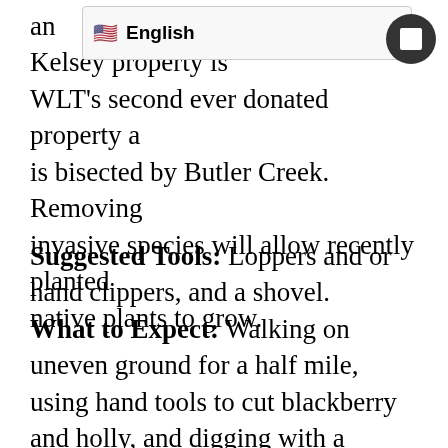and the Kelsey property is WLT's second ever donated property and is bisected by Butler Creek.  Removing invasive species will allow recently planted native plants to grow.
Suggested Tools: Loppers and or hand clippers, and a shovel. What to Expect: Walking on uneven ground for a half mile, using hand tools to cut blackberry and holly, and digging with a shovel. Directions: From Bellingham, head north on Interstate-5, take the exit for Grandview Rd (Exit 266), turn left onto